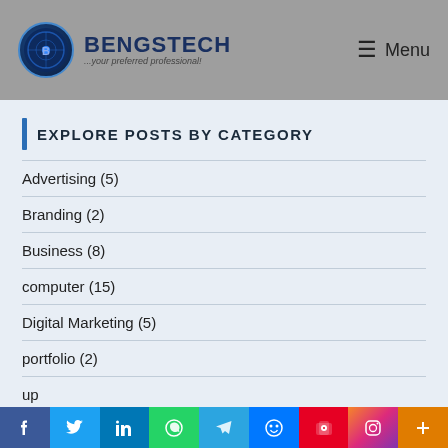BENGSTECH ...your preferred professional! Menu
EXPLORE POSTS BY CATEGORY
Advertising (5)
Branding (2)
Business (8)
computer (15)
Digital Marketing (5)
portfolio (2)
up...